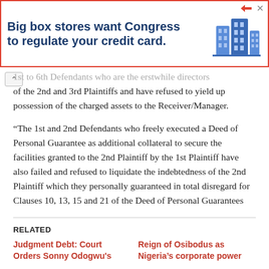[Figure (other): Advertisement banner: 'Big box stores want Congress to regulate your credit card.' with blue building illustration]
1st to 6th Defendants who are the erstwhile directors of the 2nd and 3rd Plaintiffs and have refused to yield up possession of the charged assets to the Receiver/Manager.
“The 1st and 2nd Defendants who freely executed a Deed of Personal Guarantee as additional collateral to secure the facilities granted to the 2nd Plaintiff by the 1st Plaintiff have also failed and refused to liquidate the indebtedness of the 2nd Plaintiff which they personally guaranteed in total disregard for Clauses 10, 13, 15 and 21 of the Deed of Personal Guarantees
RELATED
Judgment Debt: Court Orders Sonny Odogwu's
Reign of Osibodus as Nigeria’s corporate power